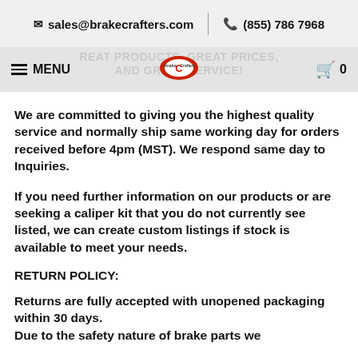✉ sales@brakecrafters.com | ☎ (855) 786 7968
MENU [logo] 0
We are committed to giving you the highest quality service and normally ship same working day for orders received before 4pm (MST). We respond same day to Inquiries.
If you need further information on our products or are seeking a caliper kit that you do not currently see listed, we can create custom listings if stock is available to meet your needs.
RETURN POLICY:
Returns are fully accepted with unopened packaging within 30 days.
Due to the safety nature of brake parts we